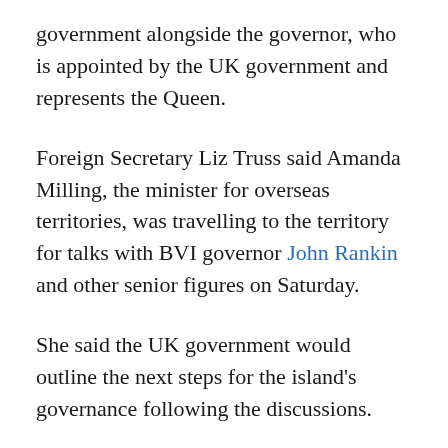government alongside the governor, who is appointed by the UK government and represents the Queen.
Foreign Secretary Liz Truss said Amanda Milling, the minister for overseas territories, was travelling to the territory for talks with BVI governor John Rankin and other senior figures on Saturday.
She said the UK government would outline the next steps for the island's governance following the discussions.
Mr Rankin, who it is recommended should take over the rule of the territory, has said his main